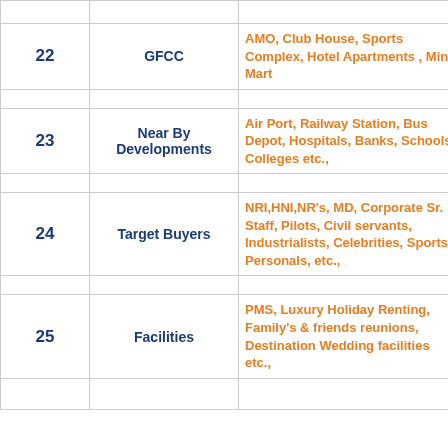| # | Category | Details |
| --- | --- | --- |
| 22 | GFCC | AMO, Club House, Sports Complex, Hotel Apartments , Mini Mart |
| 23 | Near By Developments | Air Port, Railway Station, Bus Depot, Hospitals, Banks, Schools, Colleges etc., |
| 24 | Target Buyers | NRI,HNI,NR's, MD, Corporate Sr. Staff, Pilots, Civil servants, Industrialists, Celebrities, Sports Personals, etc., |
| 25 | Facilities | PMS, Luxury Holiday Renting, Family's & friends reunions, Destination Wedding facilities etc., |